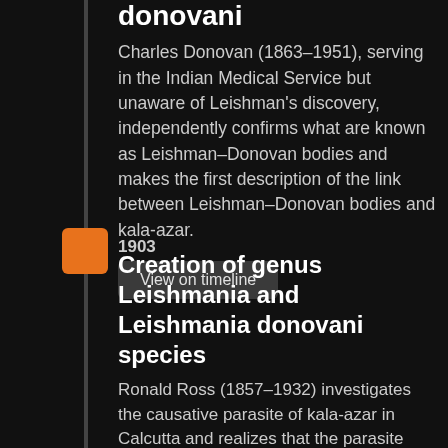donovani
Charles Donovan (1863–1951), serving in the Indian Medical Service but unaware of Leishman's discovery, independently confirms what are known as Leishman–Donovan bodies and makes the first description of the link between Leishman–Donovan bodies and kala-azar.
View on timeline
1903
Creation of genus Leishmania and Leishmania donovani species
Ronald Ross (1857–1932) investigates the causative parasite of kala-azar in Calcutta and realizes that the parasite discovered by Donovan is the same as that seen by Leishman; Ross creates the genus Leishmania and names the parasite Leishmania donovani in their honour. Born in India, Ross joins the Indian Medical